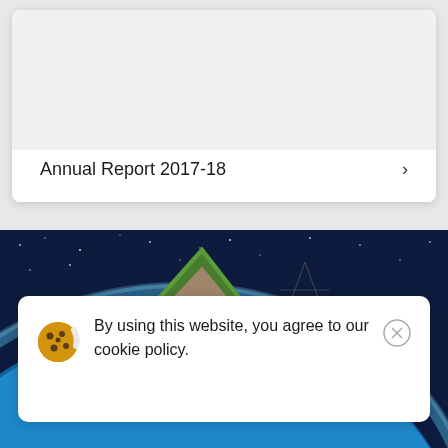[Figure (screenshot): A card UI element with white background showing 'Annual Report 2017-18' label at the bottom with a chevron/arrow pointing right.]
Annual Report 2017-18
[Figure (photo): Background banner image showing Earth from space with blue atmosphere and a green-bordered pyramid/diamond shape in the foreground.]
By using this website, you agree to our cookie policy.